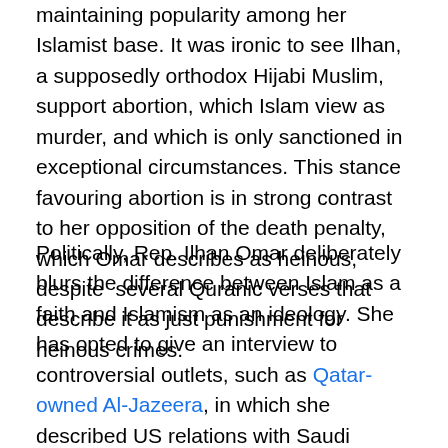maintaining popularity among her Islamist base. It was ironic to see Ilhan, a supposedly orthodox Hijabi Muslim, support abortion, which Islam view as murder, and which is only sanctioned in exceptional circumstances. This stance favouring abortion is in strong contrast to her opposition of the death penalty, which Omar describes as heinous, despite  several Quranic verses that describe it as just punishment for heinous crimes.
Politically, Rep. Ilhan Omar deliberately blurs the difference between Islam as a faith and Islamism as an ideology. She has opted to give an interview to controversial outlets, such as Qatar-owned Al-Jazeera, in which she described US relations with Saudi Arabia and the Emirates (Qatar opponents) as “immoral”. Ilhan Omar is now openly backed by variousIslamistgroups inside and outside America, including the ruling party in Turkey.